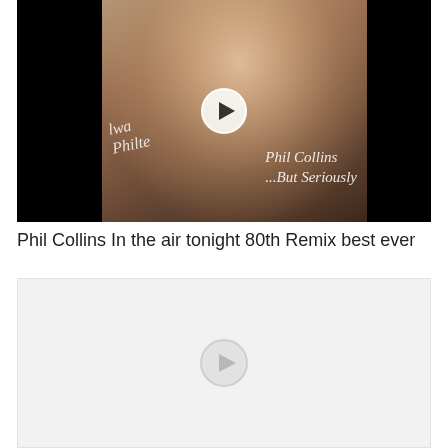[Figure (screenshot): Video thumbnail showing Phil Collins album cover '...But Seriously' with a close-up face photo, handwritten signature, and a circular play button overlay on a black background]
Phil Collins In the air tonight 80th Remix best ever
[Figure (screenshot): Second video thumbnail with light gray background and a faded circular play button overlay]